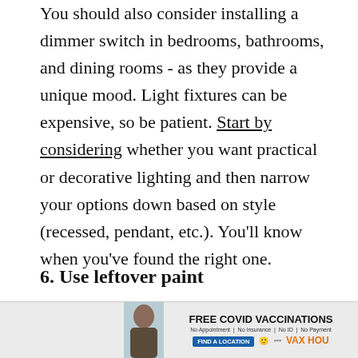You should also consider installing a dimmer switch in bedrooms, bathrooms, and dining rooms - as they provide a unique mood. Light fixtures can be expensive, so be patient. Start by considering whether you want practical or decorative lighting and then narrow your options down based on style (recessed, pendant, etc.). You'll know when you've found the right one.
6. Use leftover paint
There is so much you can do with the leftover
[Figure (infographic): Advertisement banner for FREE COVID VACCINATIONS. No Appointment | No Insurance | No ID | No Payment. FIND A LOCATION button. VAX HOU logo. Features a photo of a woman.]